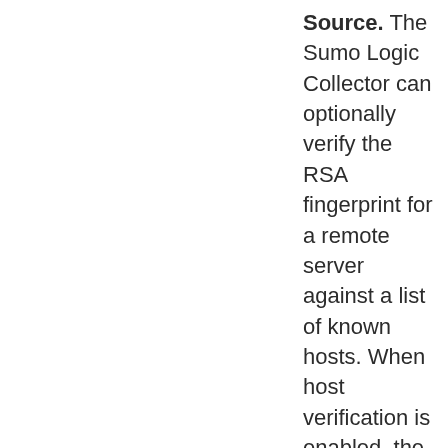Source. The Sumo Logic Collector can optionally verify the RSA fingerprint for a remote server against a list of known hosts. When host verification is enabled, the Collector collects from a Remote File Source only if the remote host fingerprint